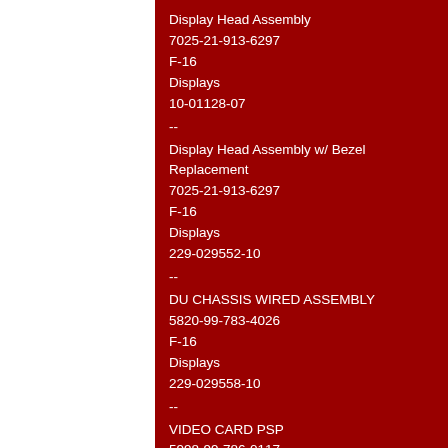Display Head Assembly
7025-21-913-6297
F-16
Displays
10-01128-07
--
Display Head Assembly w/ Bezel Replacement
7025-21-913-6297
F-16
Displays
229-029552-10
--
DU CHASSIS WIRED ASSEMBLY
5820-99-783-4026
F-16
Displays
229-029558-10
--
VIDEO CARD PSP
5998-99-786-0117
F-16